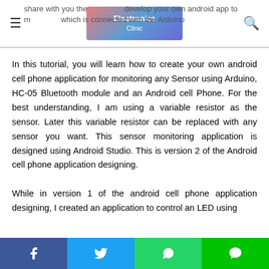Electronics Clinic
share with you the knowledge to develop your own android app to monitor a sensor which is connected with the Arduino
In this tutorial, you will learn how to create your own android cell phone application for monitoring any Sensor using Arduino, HC-05 Bluetooth module and an Android cell Phone. For the best understanding, I am using a variable resistor as the sensor. Later this variable resistor can be replaced with any sensor you want. This sensor monitoring application is designed using Android Studio. This is version 2 of the Android cell phone application designing.

While in version 1 of the android cell phone application designing, I created an application to control an LED using
Facebook Twitter WhatsApp Line